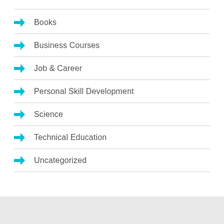Books
Business Courses
Job & Career
Personal Skill Development
Science
Technical Education
Uncategorized